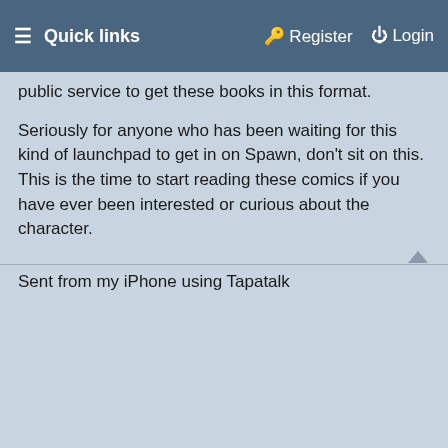☰ Quick links   🔑 Register   ⏻ Login
public service to get these books in this format.
Seriously for anyone who has been waiting for this kind of launchpad to get in on Spawn, don't sit on this. This is the time to start reading these comics if you have ever been interested or curious about the character.
Sent from my iPhone using Tapatalk